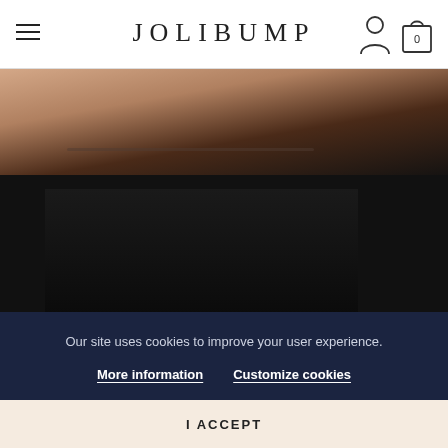JOLIBUMP
[Figure (photo): Close-up photo of a person wearing a black Jeanne Tencel Pregnancy Top, showing neckline and draped fabric]
JEANNE TENCEL PREGNANCY TOP
€58.00
[Figure (photo): Partial photo of another product, warm brown tones visible]
Our site uses cookies to improve your user experience.
More information    Customize cookies
I ACCEPT